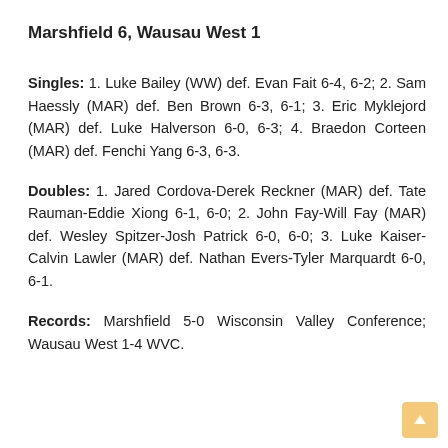Marshfield 6, Wausau West 1
Singles: 1. Luke Bailey (WW) def. Evan Fait 6-4, 6-2; 2. Sam Haessly (MAR) def. Ben Brown 6-3, 6-1; 3. Eric Myklejord (MAR) def. Luke Halverson 6-0, 6-3; 4. Braedon Corteen (MAR) def. Fenchi Yang 6-3, 6-3.
Doubles: 1. Jared Cordova-Derek Reckner (MAR) def. Tate Rauman-Eddie Xiong 6-1, 6-0; 2. John Fay-Will Fay (MAR) def. Wesley Spitzer-Josh Patrick 6-0, 6-0; 3. Luke Kaiser-Calvin Lawler (MAR) def. Nathan Evers-Tyler Marquardt 6-0, 6-1.
Records: Marshfield 5-0 Wisconsin Valley Conference; Wausau West 1-4 WVC.